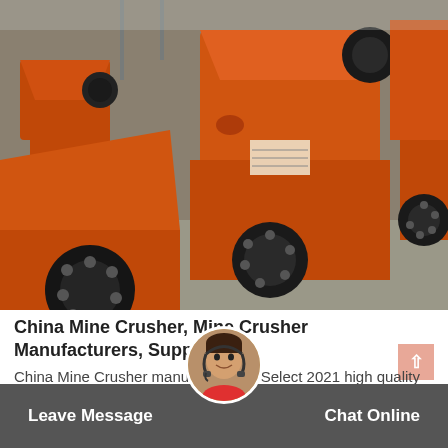[Figure (photo): Multiple orange jaw crushers / mining crushers arranged in a warehouse/factory floor, photographed from a low angle. The machines are large, heavy industrial equipment painted bright orange with black wheel/pulley components.]
China Mine Crusher, Mine Crusher Manufacturers, Suppliers
China Mine Crusher manufacturers - Select 2021 high quality Mine Crusher products in best price from certified Chinese Mining Equipment, Mining Machine suppliers, wholesalers and
Leave Message
Chat Online